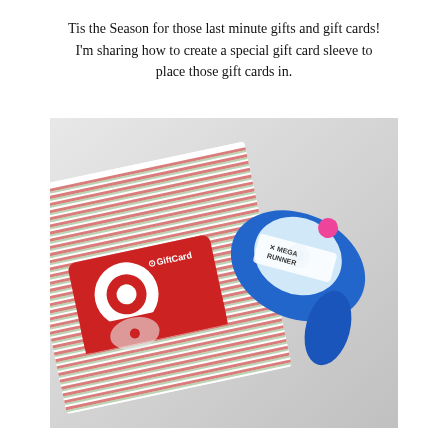Tis the Season for those last minute gifts and gift cards! I'm sharing how to create a special gift card sleeve to place those gift cards in.
[Figure (photo): A photo showing a striped holiday paper folded into a gift card sleeve containing a Target GiftCard (with Target bullseye logo and a bull terrier dog), placed next to a blue Mega Runner adhesive tape dispenser on a light gray surface.]